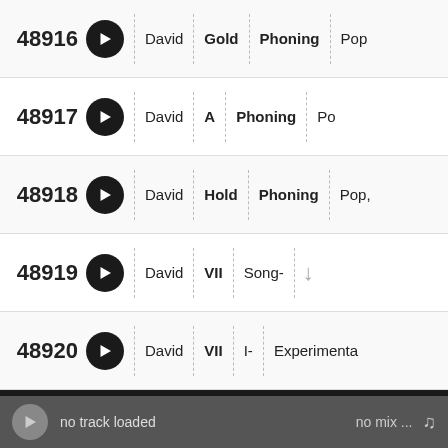| ID |  | Artist | Title | Album | Genre |
| --- | --- | --- | --- | --- | --- |
| 48916 | ▶ | David | Gold | Phoning | Pop |
| 48917 | ▶ | David | A | Phoning | Po |
| 48918 | ▶ | David | Hold | Phoning | Pop, |
| 48919 | ▶ | David | VII | Song- | ↓ |
| 48920 | ▶ | David | VII | I- | Experimenta |
48901-48920 of 61542   20 ▾   « PREVIOUS / 1 / ... / 2443 / 2444 / 2445 / 2446 / 2447 / 2448 / 2449 / ... / 3078 / NEXT »
[Figure (logo): EMA logo text on black background]
no track loaded   no mix ...